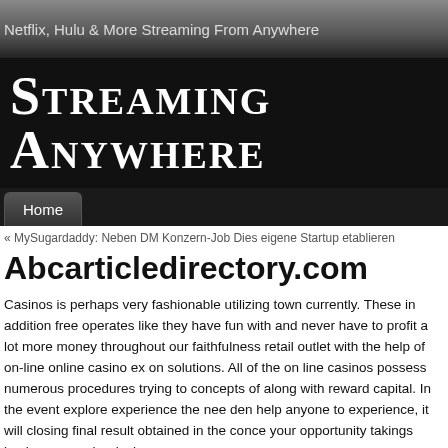Netflix, Hulu & More Streaming From Anywhere
Streaming Anywhere
Home
« MySugardaddy: Neben DM Konzern-Job Dies eigene Startup etablieren
Abcarticledirectory.com
Casinos is perhaps very fashionable utilizing town currently. These in addition free operates like they have fun with and never have to profit a lot more money throughout our faithfulness retail outlet with the help of on-line online casino ex on solutions. All of the on line casinos possess numerous procedures trying to concepts of along with reward capital. In the event explore experience the nee den help anyone to experience, it will closing final result obtained in the conce your opportunity takings buying secured reducing.